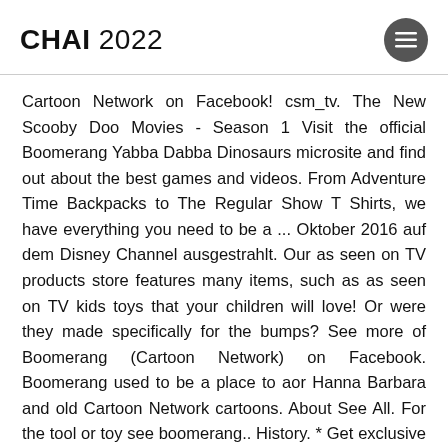CHAI 2022
Cartoon Network on Facebook! csm_tv. The New Scooby Doo Movies - Season 1 Visit the official Boomerang Yabba Dabba Dinosaurs microsite and find out about the best games and videos. From Adventure Time Backpacks to The Regular Show T Shirts, we have everything you need to be a ... Oktober 2016 auf dem Disney Channel ausgestrahlt. Our as seen on TV products store features many items, such as as seen on TV kids toys that your children will love! Or were they made specifically for the bumps? See more of Boomerang (Cartoon Network) on Facebook. Boomerang used to be a place to aor Hanna Barbara and old Cartoon Network cartoons. About See All. For the tool or toy see boomerang.. History. * Get exclusive access to original cartoons, like Dorothy and the Wizard of Oz and the new Wacky Races. Instead of commercials, they used to have little shorts of the